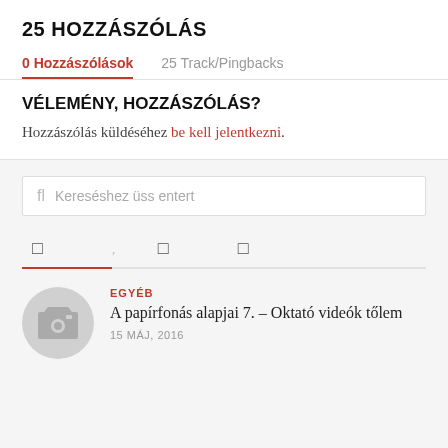25 HOZZÁSZÓLÁS
0 Hozzászólások	25 Track/Pingbacks
VÉLEMÉNY, HOZZÁSZÓLÁS?
Hozzászólás küldéséhez be kell jelentkezni.
Kereséshez üss entert
[Figure (other): Navigation icon bar with icons and a red underline indicator on the first icon]
EGYÉB
A papírfonás alapjai 7. – Oktató videók tőlem
15 MÁJ, 2016